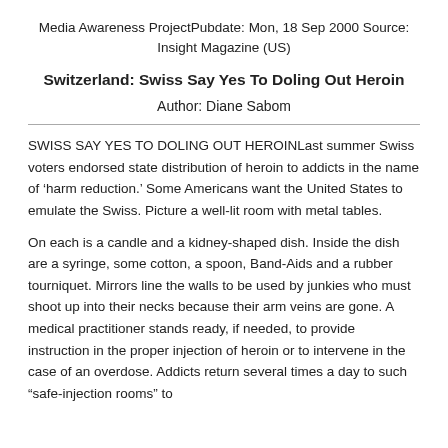Media Awareness ProjectPubdate: Mon, 18 Sep 2000 Source: Insight Magazine (US)
Switzerland: Swiss Say Yes To Doling Out Heroin
Author: Diane Sabom
SWISS SAY YES TO DOLING OUT HEROINLast summer Swiss voters endorsed state distribution of heroin to addicts in the name of ‘harm reduction.’ Some Americans want the United States to emulate the Swiss. Picture a well-lit room with metal tables.
On each is a candle and a kidney-shaped dish. Inside the dish are a syringe, some cotton, a spoon, Band-Aids and a rubber tourniquet. Mirrors line the walls to be used by junkies who must shoot up into their necks because their arm veins are gone. A medical practitioner stands ready, if needed, to provide instruction in the proper injection of heroin or to intervene in the case of an overdose. Addicts return several times a day to such “safe-injection rooms” to